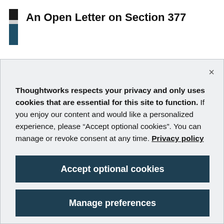An Open Letter on Section 377
Thoughtworks respects your privacy and only uses cookies that are essential for this site to function. If you enjoy our content and would like a personalized experience, please “Accept optional cookies”. You can manage or revoke consent at any time. Privacy policy
Accept optional cookies
Manage preferences